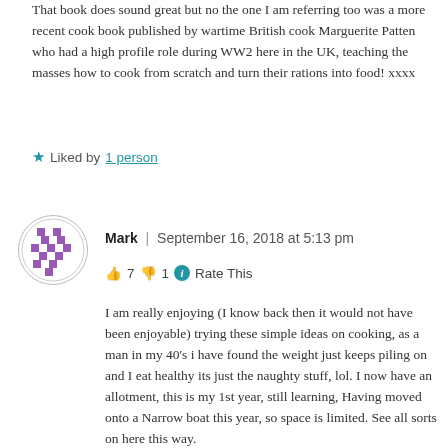That book does sound great but no the one I am referring too was a more recent cook book published by wartime British cook Marguerite Patten who had a high profile role during WW2 here in the UK, teaching the masses how to cook from scratch and turn their rations into food! xxxx
★ Liked by 1 person
Mark | September 16, 2018 at 5:13 pm
👍 7 👎 1 ℹ Rate This
I am really enjoying (I know back then it would not have been enjoyable) trying these simple ideas on cooking, as a man in my 40's i have found the weight just keeps piling on and I eat healthy its just the naughty stuff, lol. I now have an allotment, this is my 1st year, still learning, Having moved onto a Narrow boat this year, so space is limited. See all sorts on here this way.